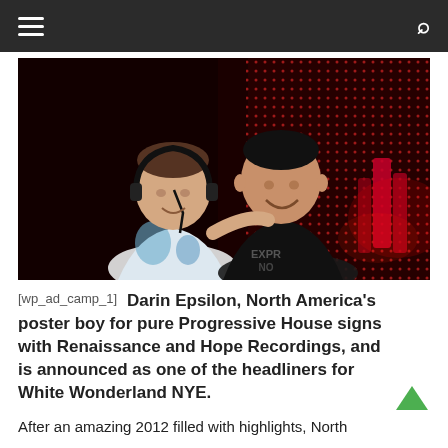Navigation bar with hamburger menu and search icon
[Figure (photo): Two men posing together in a nightclub setting. The man on the left is wearing a white and blue floral t-shirt with headphones around his neck. The man on the right is wearing a black graphic t-shirt. The background features red dot-grid LED lighting and bottles on a bar.]
[wp_ad_camp_1]    Darin Epsilon, North America’s poster boy for pure Progressive House signs with Renaissance and Hope Recordings, and is announced as one of the headliners for White Wonderland NYE.
After an amazing 2012 filled with highlights, North